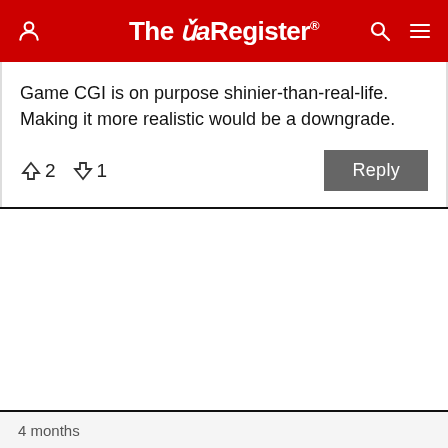The Register
Game CGI is on purpose shinier-than-real-life. Making it more realistic would be a downgrade.
↑2  ↓1   Reply
4 months